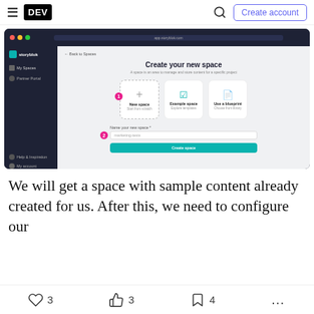DEV — Create account
[Figure (screenshot): Screenshot of Storyblok dashboard showing 'Create your new space' interface with New space, Example space, and Use a blueprint options, plus a name input field and Create space button]
We will get a space with sample content already created for us. After this, we need to configure our
3  3  4  ...